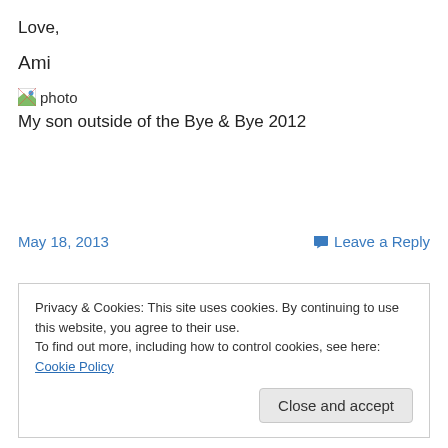Love,
Ami
[Figure (photo): Broken image icon with alt text 'photo']
My son outside of the Bye & Bye 2012
May 18, 2013
Leave a Reply
Privacy & Cookies: This site uses cookies. By continuing to use this website, you agree to their use.
To find out more, including how to control cookies, see here: Cookie Policy
Close and accept